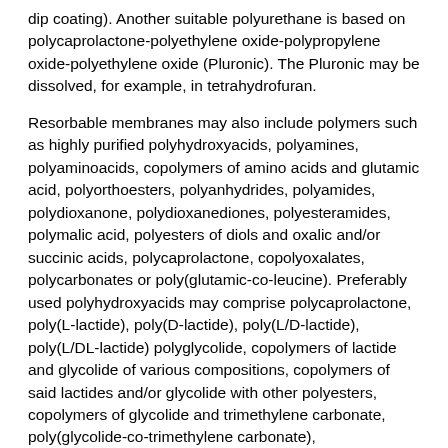dip coating). Another suitable polyurethane is based on polycaprolactone-polyethylene oxide-polypropylene oxide-polyethylene oxide (Pluronic). The Pluronic may be dissolved, for example, in tetrahydrofuran.
Resorbable membranes may also include polymers such as highly purified polyhydroxyacids, polyamines, polyaminoacids, copolymers of amino acids and glutamic acid, polyorthoesters, polyanhydrides, polyamides, polydioxanone, polydioxanediones, polyesteramides, polymalic acid, polyesters of diols and oxalic and/or succinic acids, polycaprolactone, copolyoxalates, polycarbonates or poly(glutamic-co-leucine). Preferably used polyhydroxyacids may comprise polycaprolactone, poly(L-lactide), poly(D-lactide), poly(L/D-lactide), poly(L/DL-lactide) polyglycolide, copolymers of lactide and glycolide of various compositions, copolymers of said lactides and/or glycolide with other polyesters, copolymers of glycolide and trimethylene carbonate, poly(glycolide-co-trimethylene carbonate), polyhydroxybutyrate, polyhydroxyvalerate, copolymers of hydroxybutyrate and hydroxyvalerate of various compositions. Other materials which may be used as additives are composite systems containing resorbable polymeric matrix and resorbable glasses and ceramics based e.g. on tricalcium phosphate and/or hydroxyapatite, admixed to the polymer before processing.
Polymer films may be formulated for different degradation rates in vivo. A polymer film may be designed to substantially degrade in a matter months